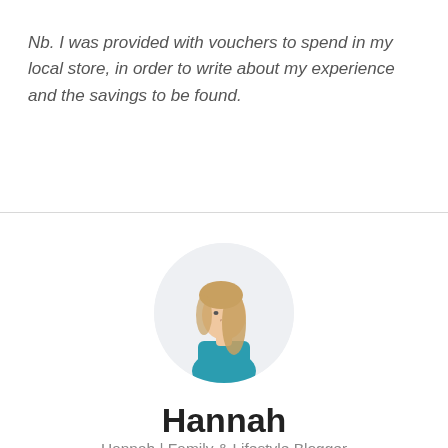Nb. I was provided with vouchers to spend in my local store, in order to write about my experience and the savings to be found.
[Figure (photo): Circular profile photo of a blonde woman wearing a teal top, photographed from the side against a light background.]
Hannah
Hannah | Family & Lifestyle Blogger